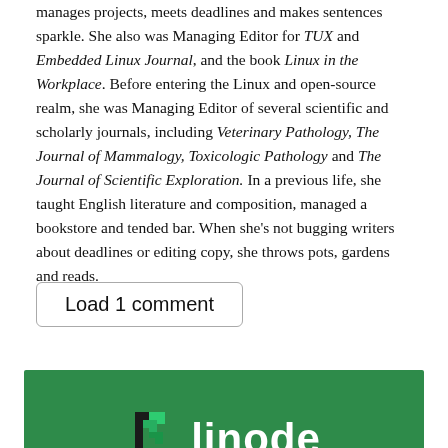manages projects, meets deadlines and makes sentences sparkle. She also was Managing Editor for TUX and Embedded Linux Journal, and the book Linux in the Workplace. Before entering the Linux and open-source realm, she was Managing Editor of several scientific and scholarly journals, including Veterinary Pathology, The Journal of Mammalogy, Toxicologic Pathology and The Journal of Scientific Exploration. In a previous life, she taught English literature and composition, managed a bookstore and tended bar. When she’s not bugging writers about deadlines or editing copy, she throws pots, gardens and reads.
Load 1 comment
[Figure (logo): Linode advertisement banner with green background, Linode logo (stylized L mark) and company name 'linode', with large white bold text 'Predictable' below]